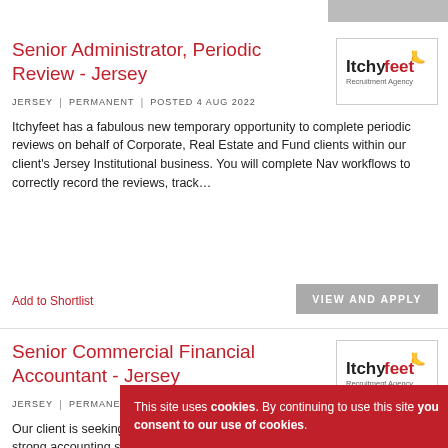Senior Administrator, Periodic Review - Jersey
JERSEY | PERMANENT | POSTED 4 AUG 2022
Itchyfeet has a fabulous new temporary opportunity to complete periodic reviews on behalf of Corporate, Real Estate and Fund clients within our client's Jersey Institutional business. You will complete Nav workflows to correctly record the reviews, track...
Add to Shortlist
Senior Commercial Financial Accountant - Jersey
JERSEY | PERMANENT | POSTED 8 AUG 2022
Our client is seeking a fully qualified Accountant (ACCA, CA, CPA) with strong accounting support experience in a commercial environment, to join their team, on a permanent full-time basis. You will assist with the preparation of financial...
This site uses cookies. By continuing to use this site you consent to our use of cookies.